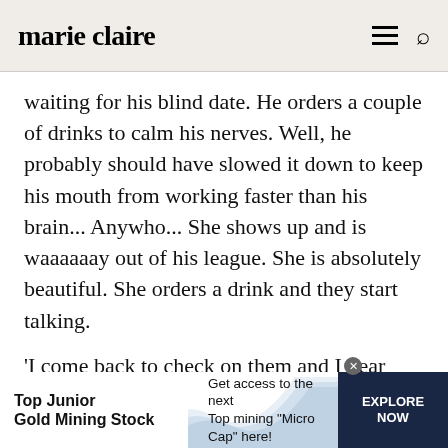marie claire
waiting for his blind date. He orders a couple of drinks to calm his nerves. Well, he probably should have slowed it down to keep his mouth from working faster than his brain... Anywho... She shows up and is waaaaaay out of his league. She is absolutely beautiful. She orders a drink and they start talking.
‘I come back to check on them and I hear him talking about how much he hates children. He
[Figure (infographic): Advertisement banner for Top Junior Gold Mining Stock with wave graphic and EXPLORE NOW button]